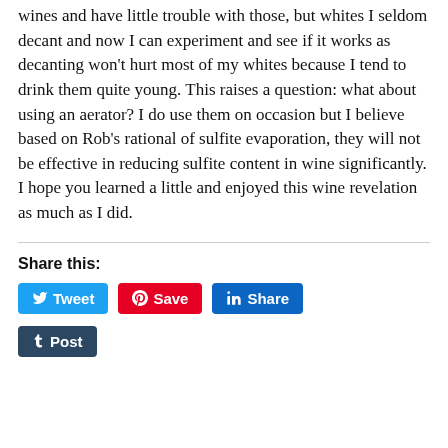wines and have little trouble with those, but whites I seldom decant and now I can experiment and see if it works as decanting won't hurt most of my whites because I tend to drink them quite young.  This raises a question: what about using an aerator?   I do use them on occasion but I believe based on Rob's rational of sulfite evaporation, they will not be effective in reducing sulfite content in wine significantly.  I hope you learned a little and enjoyed this wine revelation as much as I did.
Share this:
[Figure (infographic): Social share buttons: Tweet (Twitter, blue), Save (Pinterest, red), Share (LinkedIn, blue), Post (Tumblr, dark blue)]